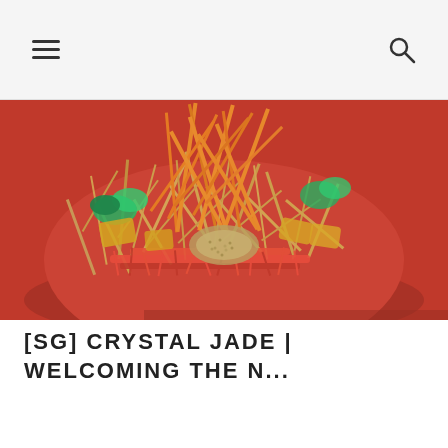Navigation header with hamburger menu and search icon
[Figure (photo): Close-up photo of a colorful Chinese New Year Yu Sheng (prosperity toss salad) dish on a red plate, featuring orange shredded carrots, golden crispy crackers, sesame seeds, and various colorful ingredients arranged in a mound]
[SG] CRYSTAL JADE | WELCOMING THE N...
[Figure (photo): Partial photo of another food item, appears to be wrapped or folded food on a dark background, partially visible at the bottom of the page]